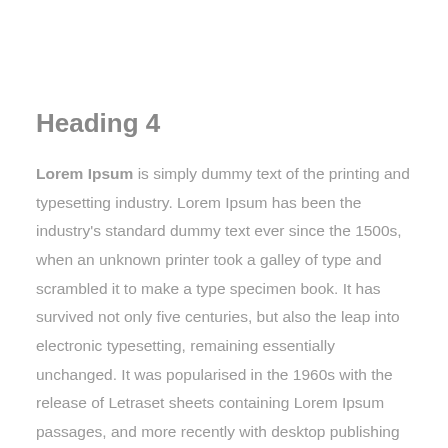Heading 4
Lorem Ipsum is simply dummy text of the printing and typesetting industry. Lorem Ipsum has been the industry's standard dummy text ever since the 1500s, when an unknown printer took a galley of type and scrambled it to make a type specimen book. It has survived not only five centuries, but also the leap into electronic typesetting, remaining essentially unchanged. It was popularised in the 1960s with the release of Letraset sheets containing Lorem Ipsum passages, and more recently with desktop publishing